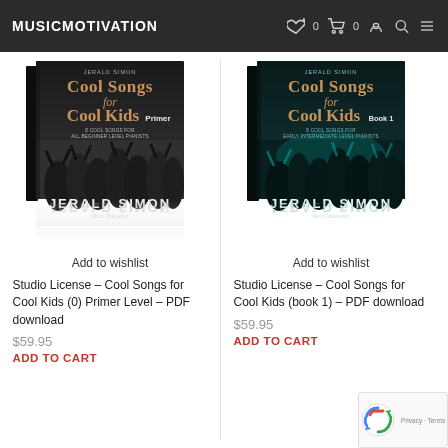MUSICMOTIVATION
[Figure (illustration): Book cover: Cool Songs for Cool Kids Primer by Jerald Simon, black cover with crowd photo, with reflection below]
Add to wishlist
Studio License – Cool Songs for Cool Kids (0) Primer Level – PDF download
$59.95
ADD TO CART
[Figure (illustration): Book cover: Cool Songs for Cool Kids Book 1 by Jerald Simon, black/teal cover with crowd photo, with reflection below]
Add to wishlist
Studio License – Cool Songs for Cool Kids (book 1) – PDF download
$59.95
ADD TO CART